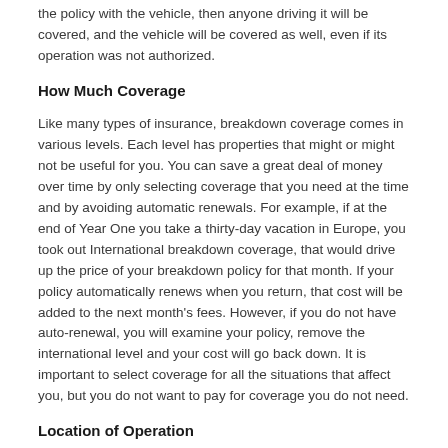the policy with the vehicle, then anyone driving it will be covered, and the vehicle will be covered as well, even if its operation was not authorized.
How Much Coverage
Like many types of insurance, breakdown coverage comes in various levels. Each level has properties that might or might not be useful for you. You can save a great deal of money over time by only selecting coverage that you need at the time and by avoiding automatic renewals. For example, if at the end of Year One you take a thirty-day vacation in Europe, you took out International breakdown coverage, that would drive up the price of your breakdown policy for that month. If your policy automatically renews when you return, that cost will be added to the next month's fees. However, if you do not have auto-renewal, you will examine your policy, remove the international level and your cost will go back down. It is important to select coverage for all the situations that affect you, but you do not want to pay for coverage you do not need.
Location of Operation